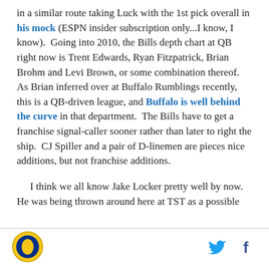in a similar route taking Luck with the 1st pick overall in his mock (ESPN insider subscription only...I know, I know).  Going into 2010, the Bills depth chart at QB right now is Trent Edwards, Ryan Fitzpatrick, Brian Brohm and Levi Brown, or some combination thereof.  As Brian inferred over at Buffalo Rumblings recently, this is a QB-driven league, and Buffalo is well behind the curve in that department.  The Bills have to get a franchise signal-caller sooner rather than later to right the ship.  CJ Spiller and a pair of D-linemen are pieces nice additions, but not franchise additions.
I think we all know Jake Locker pretty well by now.  He was being thrown around here at TST as a possible
[Figure (logo): Circular yellow and blue sports team logo]
[Figure (logo): Twitter bird icon in blue]
[Figure (logo): Facebook f icon in dark blue]